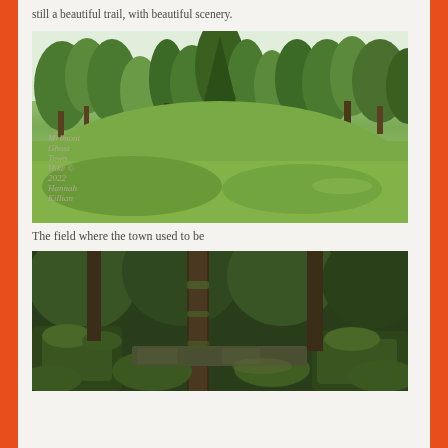still a beautiful trail, with beautiful scenery.
[Figure (photo): A wide open green meadow field surrounded by tall evergreen and deciduous trees under an overcast sky. The meadow has lush green grass. Watermark reads: Melmont Ghost Town Hike © 2022 Hannah Killian]
The field where the town used to be
[Figure (photo): A dark forest scene with large moss-covered rocks and stone walls, dense ferns, and tall tree trunks covered in moss. The scene is very green and lush.]